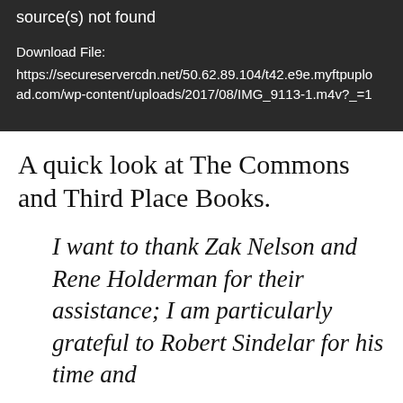[Figure (screenshot): Dark gray/black video player error box showing 'source(s) not found' message with a download file URL: https://secureservercdn.net/50.62.89.104/t42.e9e.myftpupload.com/wp-content/uploads/2017/08/IMG_9113-1.m4v?_=1]
A quick look at The Commons and Third Place Books.
I want to thank Zak Nelson and Rene Holderman for their assistance; I am particularly grateful to Robert Sindelar for his time and